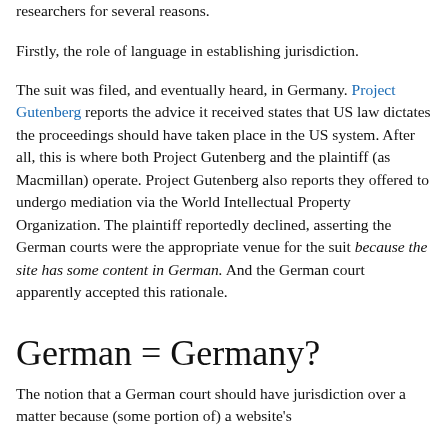researchers for several reasons.
Firstly, the role of language in establishing jurisdiction.
The suit was filed, and eventually heard, in Germany. Project Gutenberg reports the advice it received states that US law dictates the proceedings should have taken place in the US system. After all, this is where both Project Gutenberg and the plaintiff (as Macmillan) operate. Project Gutenberg also reports they offered to undergo mediation via the World Intellectual Property Organization. The plaintiff reportedly declined, asserting the German courts were the appropriate venue for the suit because the site has some content in German. And the German court apparently accepted this rationale.
German = Germany?
The notion that a German court should have jurisdiction over a matter because (some portion of) a website's